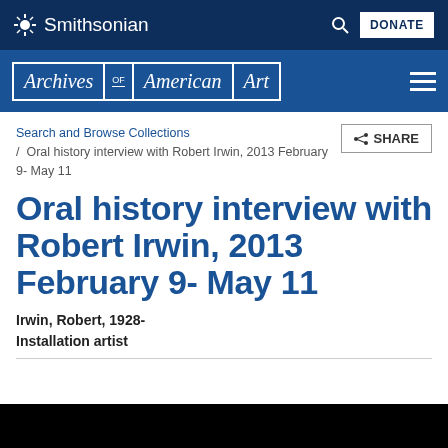Smithsonian
Archives of American Art
Search and Browse Collections / Oral history interview with Robert Irwin, 2013 February 9- May 11
Oral history interview with Robert Irwin, 2013 February 9- May 11
Irwin, Robert, 1928-
Installation artist
[Figure (photo): Black image strip at the bottom of the page]